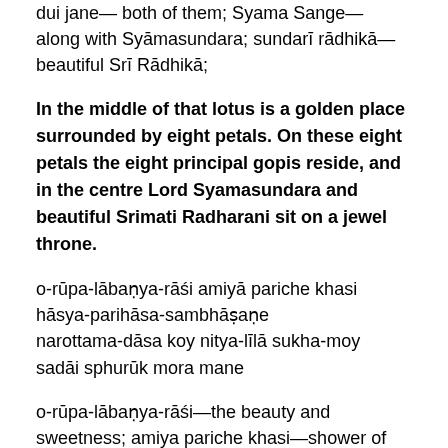dui jane— both of them; Syama Sange— along with Syāmasundara; sundarī rādhikā— beautiful Srī Rādhikā;
In the middle of that lotus is a golden place surrounded by eight petals. On these eight petals the eight principal gopis reside, and in the centre Lord Syamasundara and beautiful Srimati Radharani sit on a jewel throne.
o-rūpa-lābaṇya-rāśi amiyā pariche khasi
hāsya-parihāsa-sambhāṣaṇe
narottama-dāsa koy nitya-līlā sukha-moy
sadāi sphurūk mora mane
o-rūpa-lābaṇya-rāśi—the beauty and sweetness; amiya pariche khasi—shower of nectar; hāsya—smiling; parihāsa— teasing; sambhāṣaṇe—conversing; narottama-dāsa—Narottama dāsa; kaya—says; nitya-līlā—eternal